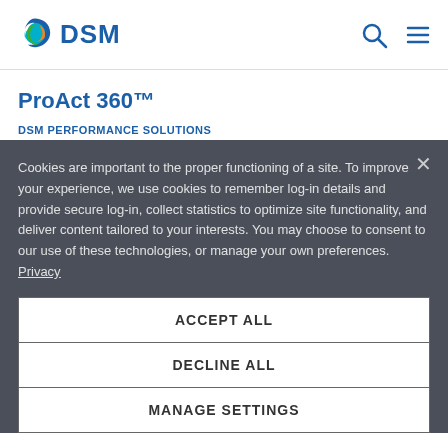DSM
ProAct 360™
DSM PERFORMANCE SOLUTIONS
ProAct 360™ - Setting the new Standard in Feed Protease
DSM is the first and only supplier to launch its second generation feed protease, ProAct 360™, in order to further reduce production costs, while making animal production
Cookies are important to the proper functioning of a site. To improve your experience, we use cookies to remember log-in details and provide secure log-in, collect statistics to optimize site functionality, and deliver content tailored to your interests. You may choose to consent to our use of these technologies, or manage your own preferences.
Privacy
ACCEPT ALL
DECLINE ALL
MANAGE SETTINGS